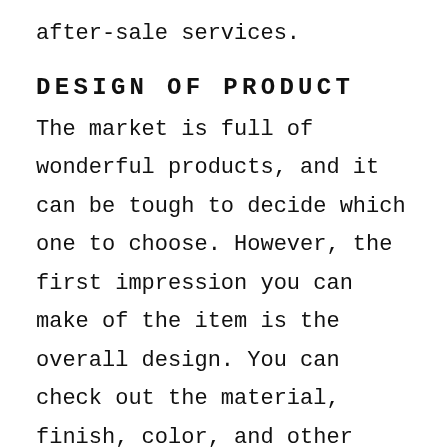after-sale services.
DESIGN OF PRODUCT
The market is full of wonderful products, and it can be tough to decide which one to choose. However, the first impression you can make of the item is the overall design. You can check out the material, finish, color, and other visual aspects of the product to get a taste of the manufacturer. If you like the overall design, you can check out other factors before choosing the item.